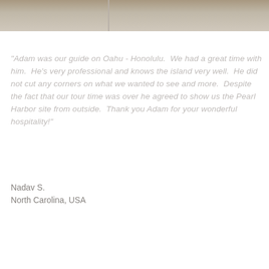[Figure (photo): Top strip showing a road/path scene with sandy/rocky terrain, part of a photo cropped at the top of the page]
"Adam was our guide on Oahu - Honolulu.  We had a great time with him.  He's very professional and knows the island very well.  He did not cut any corners on what we wanted to see and more.  Despite the fact that our tour time was over he agreed to show us the Pearl Harbor site from outside.  Thank you Adam for your wonderful hospitality!"
Nadav S.
North Carolina, USA